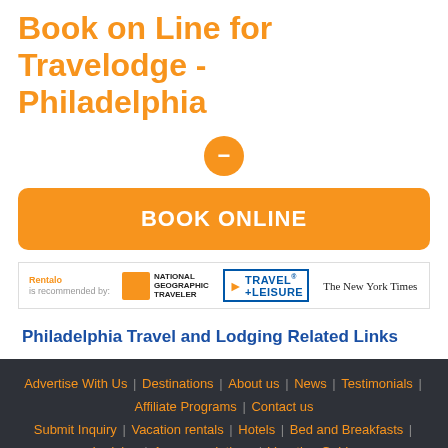Book on Line for Travelodge - Philadelphia
[Figure (other): Orange circle with minus/dash icon]
BOOK ONLINE
[Figure (logo): Recommended logos: National Geographic Traveler, Travel+Leisure, The New York Times]
Philadelphia Travel and Lodging Related Links
Advertise With Us | Destinations | About us | News | Testimonials | Affiliate Programs | Contact us | Submit Inquiry | Vacation rentals | Hotels | Bed and Breakfasts | Lodging | Accommodations | Vacation Guide
| RENTalo Mobile: m.rentalo.com | Download app
[Figure (other): Social media icons: Twitter, Facebook, Google+, Pinterest]
Use of this Web site constitutes acceptance of the Rentalo.com